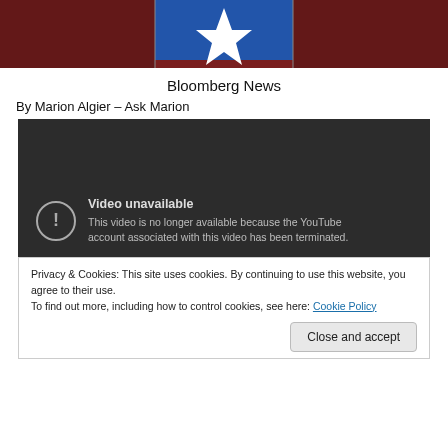[Figure (photo): Top portion of an image showing a NATO sign on a red background with a partial white star/eagle logo visible]
Bloomberg News
By Marion Algier – Ask Marion
[Figure (screenshot): YouTube video unavailable placeholder showing dark background with exclamation icon and text: 'Video unavailable. This video is no longer available because the YouTube account associated with this video has been terminated.']
Privacy & Cookies: This site uses cookies. By continuing to use this website, you agree to their use.
To find out more, including how to control cookies, see here: Cookie Policy
Close and accept